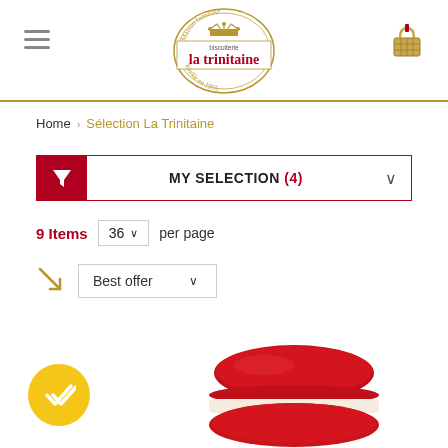[Figure (logo): La Trinitaine biscuiterie logo - circular gold border with crown, text 'Maison familiale', 'biscuiterie la trinitaine', 'fondée en 1955']
Home > Sélection La Trinitaine
MY SELECTION (4)
9 Items   36 ∨  per page
Best offer ∨
[Figure (photo): Red macaron cookie product photo, partially visible at bottom of page, with yellow checkmark badge overlay]